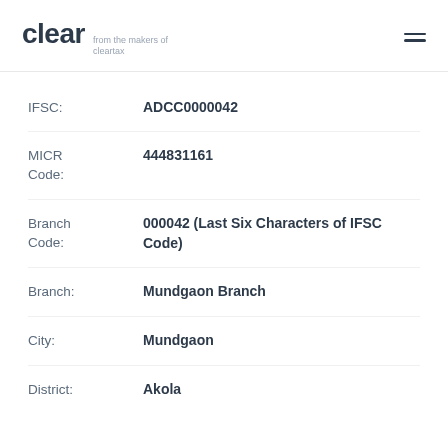clear from the makers of cleartax
IFSC: ADCC0000042
MICR Code: 444831161
Branch Code: 000042 (Last Six Characters of IFSC Code)
Branch: Mundgaon Branch
City: Mundgaon
District: Akola